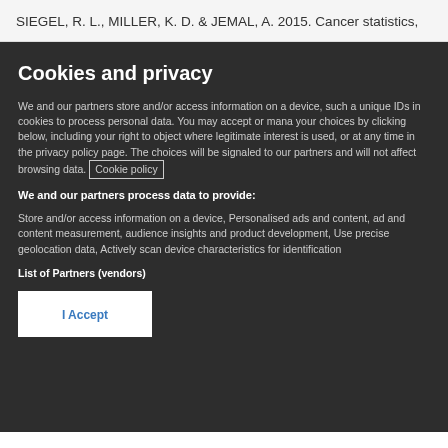SIEGEL, R. L., MILLER, K. D. & JEMAL, A. 2015. Cancer statistics,
Cookies and privacy
We and our partners store and/or access information on a device, such a unique IDs in cookies to process personal data. You may accept or mana your choices by clicking below, including your right to object where legitimate interest is used, or at any time in the privacy policy page. The choices will be signaled to our partners and will not affect browsing data. Cookie policy
We and our partners process data to provide:
Store and/or access information on a device, Personalised ads and content, ad and content measurement, audience insights and product development, Use precise geolocation data, Actively scan device characteristics for identification
List of Partners (vendors)
I Accept